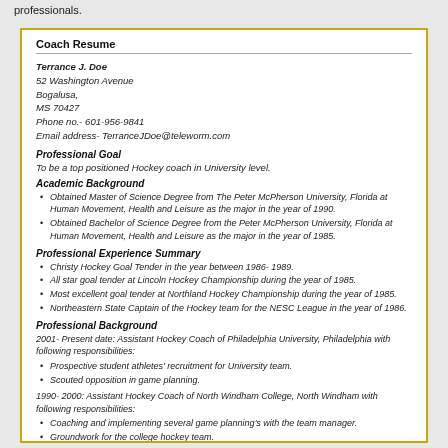professionals.
Coach Resume
Terrance J. Doe
52 Washington Avenue
Bogalusa,
MS 70427
Phone no.- 601-956-9841
Email address- TerranceJDoe@teleworm.com
Professional Goal
To be a top positioned Hockey coach in University level.
Academic Background
Obtained Master of Science Degree from The Peter McPherson University, Florida at Human Movement, Health and Leisure as the major in the year of 1990.
Obtained Bachelor of Science Degree from the Peter McPherson University, Florida at Human Movement, Health and Leisure as the major in the year of 1985.
Professional Experience Summary
Christy Hockey Goal Tender in the year between 1986- 1989.
All star goal tender at Lincoln Hockey Championship during the year of 1985.
Most excellent goal tender at Northland Hockey Championship during the year of 1985.
Northeastern State Captain of the Hockey team for the NESC League in the year of 1986.
Professional Background
2001- Present date: Assistant Hockey Coach of Philadelphia University, Philadelphia with following responsibilities:
Prospective student athletes' recruitment for University team.
Scouted opposition in game planning.
1990- 2000: Assistant Hockey Coach of North Windham College, North Windham with following responsibilities:
Coaching and implementing several game planning's with the team manager.
Groundwork for the college hockey team.
Scouted opposition in game planning.
Probable student athletes' enrollment for college team.
Additional Professional Background
1985- 1987: Hockey Trainer for the Florida State Hockey Federation.